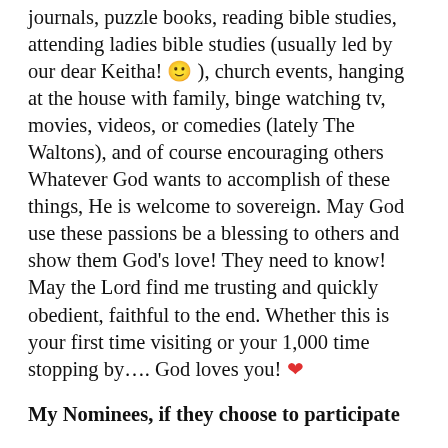journals, puzzle books, reading bible studies, attending ladies bible studies (usually led by our dear Keitha! 🙂 ), church events, hanging at the house with family, binge watching tv, movies, videos, or comedies (lately The Waltons), and of course encouraging others Whatever God wants to accomplish of these things, He is welcome to sovereign. May God use these passions be a blessing to others and show them God's love! They need to know! May the Lord find me trusting and quickly obedient, faithful to the end. Whether this is your first time visiting or your 1,000 time stopping by.... God loves you! ❤
My Nominees, if they choose to participate